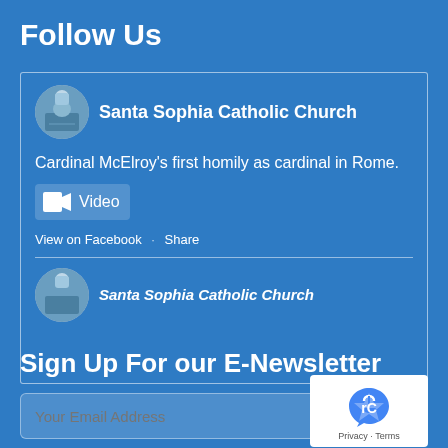Follow Us
[Figure (screenshot): Facebook widget showing Santa Sophia Catholic Church posts. First post: 'Cardinal McElroy’s first homily as cardinal in Rome.' with a Video button, and View on Facebook · Share links. Second post partially visible at bottom also from Santa Sophia Catholic Church.]
Sign Up For our E-Newsletter
Your Email Address